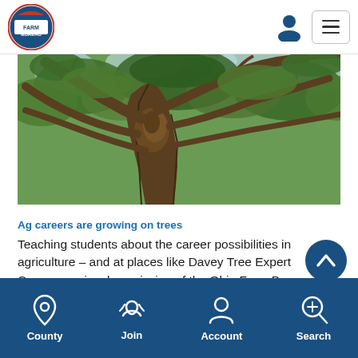[Figure (logo): Ohio Farm Bureau circular logo with red, white, and blue design]
[Figure (photo): Looking up at a large old tree with sprawling branches and green foliage canopy from below]
Ag careers are growing on trees
Teaching students about the career possibilities in agriculture – and at places like Davey Tree Expert Company – is a key mission of the Ohio Farm Bureau Foundation.
[Figure (infographic): Mobile app bottom navigation bar with County, Join, Account, and Search icons on dark blue background]